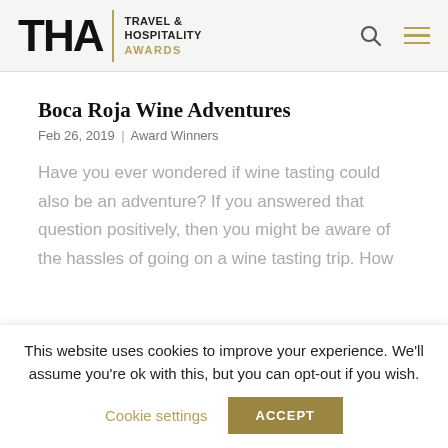THA TRAVEL & HOSPITALITY AWARDS
Boca Roja Wine Adventures
Feb 26, 2019 | Award Winners
Have you ever wondered if wine tasting could also be an adventure? If you answered that question positively, then you might be aware of the hassles of going on a wine tasting trip. How
This website uses cookies to improve your experience. We'll assume you're ok with this, but you can opt-out if you wish.
Cookie settings   ACCEPT